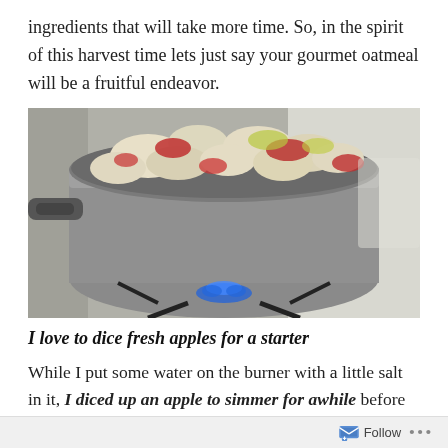ingredients that will take more time. So, in the spirit of this harvest time lets just say your gourmet oatmeal will be a fruitful endeavor.
[Figure (photo): A silver stainless steel pot filled with diced fresh apples and strawberries sitting on a gas stove burner with blue flame visible underneath.]
I love to dice fresh apples for a starter
While I put some water on the burner with a little salt in it, I diced up an apple to simmer for awhile before adding the oatmeal. Sometimes I dice up dry fruit (apricot, fig,
Follow ...